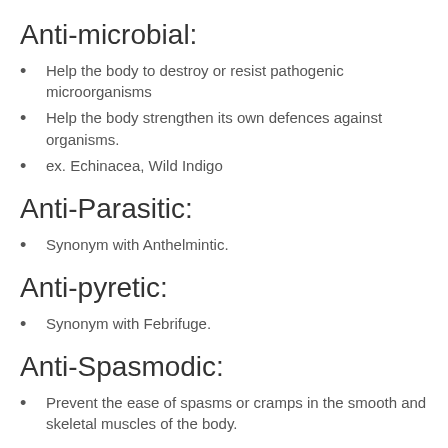Anti-microbial:
Help the body to destroy or resist pathogenic microorganisms
Help the body strengthen its own defences against organisms.
ex. Echinacea, Wild Indigo
Anti-Parasitic:
Synonym with Anthelmintic.
Anti-pyretic:
Synonym with Febrifuge.
Anti-Spasmodic:
Prevent the ease of spasms or cramps in the smooth and skeletal muscles of the body.